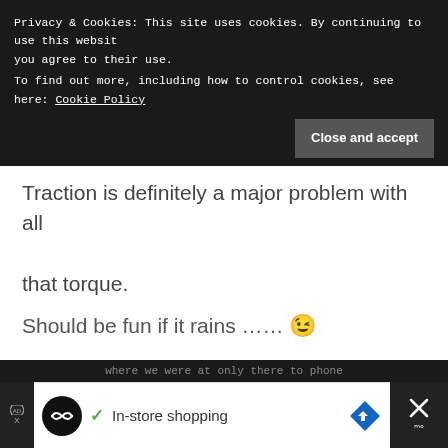Privacy & Cookies: This site uses cookies. By continuing to use this website you agree to their use. To find out more, including how to control cookies, see here: Cookie Policy
Close and accept
Traction is definitely a major problem with all that torque.
Should be fun if it rains …… 😉
taflach  March 15, 2014 at
[Figure (screenshot): Ad banner: In-store shopping advertisement with logo, checkmark, and navigation arrow, close button on right]
A where we were at only there to phone